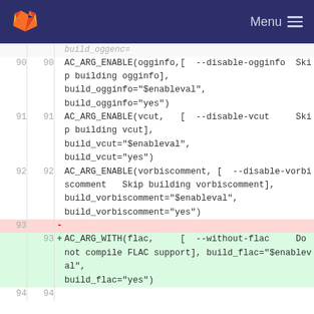GitLab — Menu
[Figure (screenshot): Code diff view showing lines 90-94 of a configure script. Lines 90-92 show AC_ARG_ENABLE calls for ogginfo, vcut, and vorbiscomment. Line 93 (deleted, pink) shows a dash. Line 93 (added, green) shows AC_ARG_WITH for flac support. Line 94 is blank.]